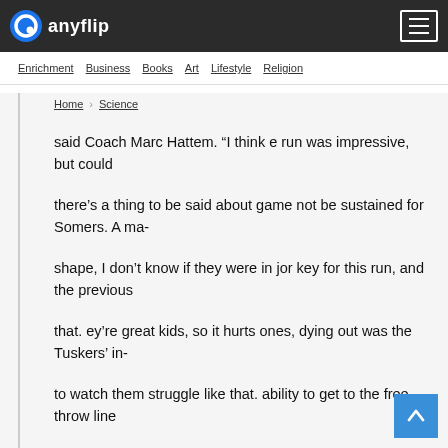anyflip
Enrichment   Business   Books   Art   Lifestyle   Religion
Home > Science
said Coach Marc Hattem. “I think e run was impressive, but could
there’s a thing to be said about game not be sustained for Somers. A ma-
shape, I don’t know if they were in jor key for this run, and the previous
that. ey’re great kids, so it hurts ones, dying out was the Tuskers’ in-
to watch them struggle like that. ability to get to the free throw line